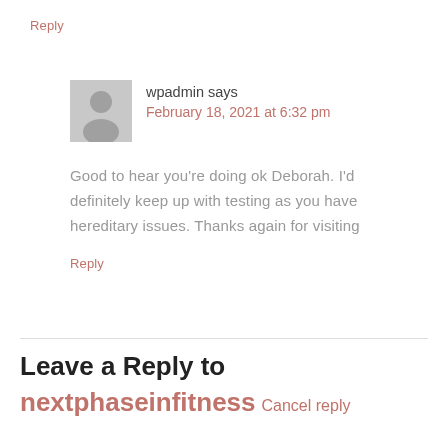Reply
wpadmin says
February 18, 2021 at 6:32 pm
Good to hear you're doing ok Deborah. I'd definitely keep up with testing as you have hereditary issues. Thanks again for visiting
Reply
Leave a Reply to nextphaseinfitness Cancel reply